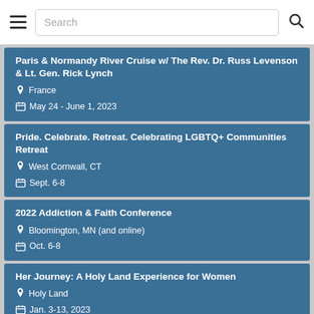Search
Paris & Normandy River Cruise w/ The Rev. Dr. Russ Levenson & Lt. Gen. Rick Lynch
France
May 24 - June 1, 2023
Pride. Celebrate. Retreat. Celebrating LGBTQ+ Communities Retreat
West Cornwall, CT
Sept. 6-8
2022 Addiction & Faith Conference
Bloomington, MN (and online)
Oct. 6-8
Her Journey: A Holy Land Experience for Women
Holy Land
Jan. 3-13, 2023
Living a Life of Joy: Reconciliation and the Pursuit of Joy
West Cornwall, CT
Sept. 16-18